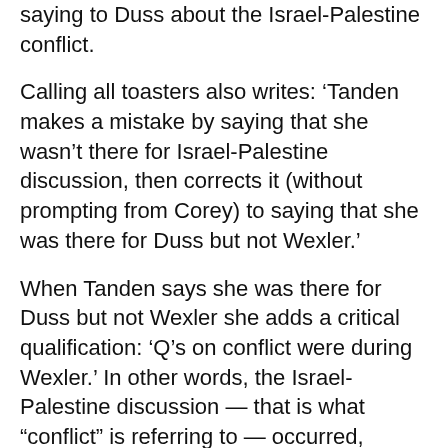saying to Duss about the Israel-Palestine conflict.
Calling all toasters also writes: ‘Tanden makes a mistake by saying that she wasn’t there for Israel-Palestine discussion, then corrects it (without prompting from Corey) to saying that she was there for Duss but not Wexler.’
When Tanden says she was there for Duss but not Wexler she adds a critical qualification: ‘Q’s on conflict were during Wexler.’ In other words, the Israel-Palestine discussion — that is what “conflict” is referring to — occurred, according to Tanden, during the Wexler testimony, not during the Duss testimony. Therefore, she doesn’t in fact correct herself quickly at all. She merely restates the non-truth she originally uttered. And in fact, what little “correction” does offer here did take quite a bit of prompting, not from me, but from